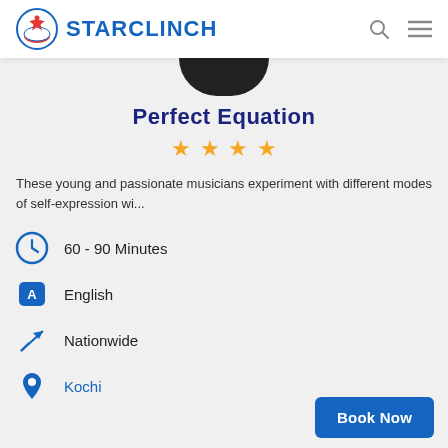STARCLINCH
Perfect Equation
These young and passionate musicians experiment with different modes of self-expression wi...
60 - 90 Minutes
English
Nationwide
Kochi